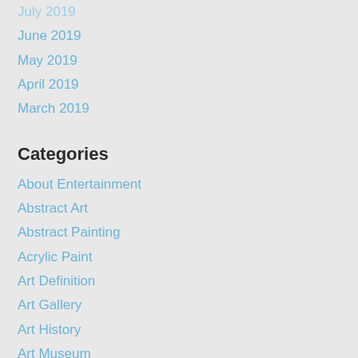July 2019
June 2019
May 2019
April 2019
March 2019
Categories
About Entertainment
Abstract Art
Abstract Painting
Acrylic Paint
Art Definition
Art Gallery
Art History
Art Museum
Art Posters
Art Prints